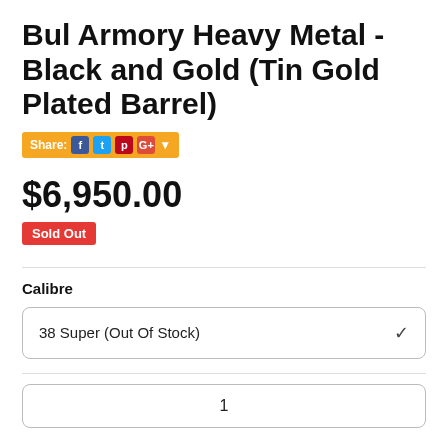Bul Armory Heavy Metal - Black and Gold (Tin Gold Plated Barrel)
[Figure (infographic): Share buttons bar with Facebook, Twitter, Pinterest, Google+ icons on amber/gold background]
$6,950.00
Sold Out
Calibre
38 Super (Out Of Stock)
1